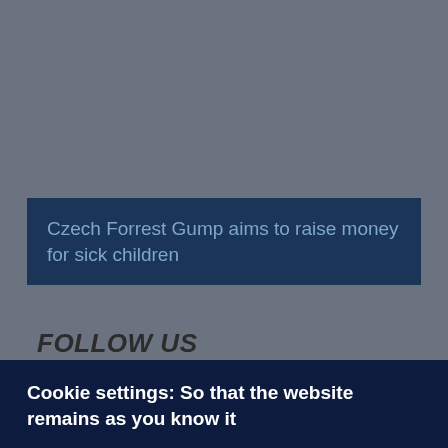Czech Forrest Gump aims to raise money for sick children
FOLLOW US
[Figure (infographic): Social media icons row: Facebook (dark blue), Twitter (teal), YouTube (dark red), Instagram (pink/rose), RSS (amber/orange)]
Cookie settings: So that the website remains as you know it